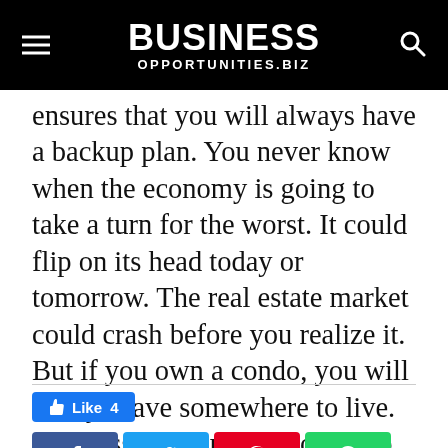BUSINESS OPPORTUNITIES.BIZ
ensures that you will always have a backup plan. You never know when the economy is going to take a turn for the worst. It could flip on its head today or tomorrow. The real estate market could crash before you realize it. But if you own a condo, you will always have somewhere to live. If necessary, you can move into the condo and stay there until the economy rebounds and you can sort things out.
[Figure (other): Facebook Like button showing 4 likes, followed by a row of social share buttons: Facebook, Twitter, Pinterest, WhatsApp]